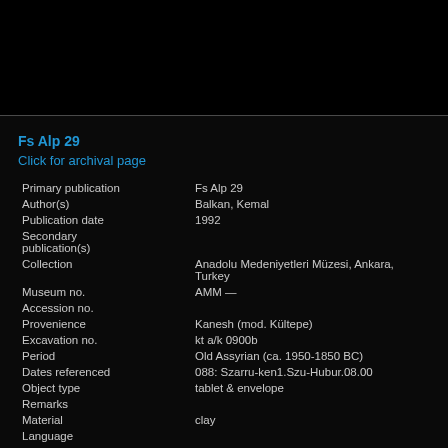Fs Alp 29
Click for archival page
| Primary publication | Fs Alp 29 |
| Author(s) | Balkan, Kemal |
| Publication date | 1992 |
| Secondary publication(s) |  |
| Collection | Anadolu Medeniyetleri Müzesi, Ankara, Turkey |
| Museum no. | AMM — |
| Accession no. |  |
| Provenience | Kanesh (mod. Kültepe) |
| Excavation no. | kt a/k 0900b |
| Period | Old Assyrian (ca. 1950-1850 BC) |
| Dates referenced | 088: Szarru-ken1.Szu-Hubur.08.00 |
| Object type | tablet & envelope |
| Remarks |  |
| Material | clay |
| Language |  |
| Genre |  |